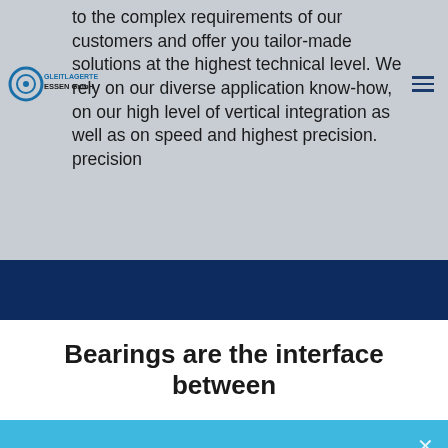to the complex requirements of our customers and offer you tailor-made solutions at the highest technical level. We rely on our diverse application know-how, on our high level of vertical integration as well as on speed and highest precision. precision
GLEITLAGERTECHNIK ESSEN GmbH
Bearings are the interface between
Diese Website benutzt Cookies. Wenn du die Website weiter nutzt, gehen wir von deinem Einverständnis aus.
OK
Nein
MEHR